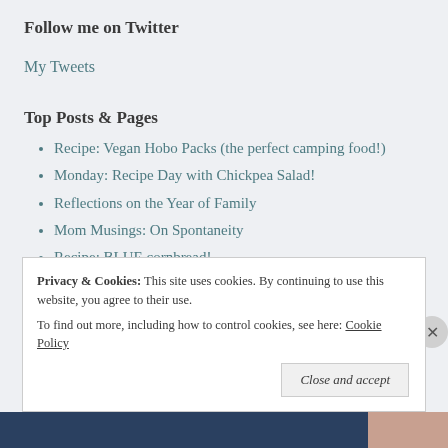Follow me on Twitter
My Tweets
Top Posts & Pages
Recipe: Vegan Hobo Packs (the perfect camping food!)
Monday: Recipe Day with Chickpea Salad!
Reflections on the Year of Family
Mom Musings: On Spontaneity
Recipe: BLUE cornbread!
Privacy & Cookies: This site uses cookies. By continuing to use this website, you agree to their use. To find out more, including how to control cookies, see here: Cookie Policy Close and accept